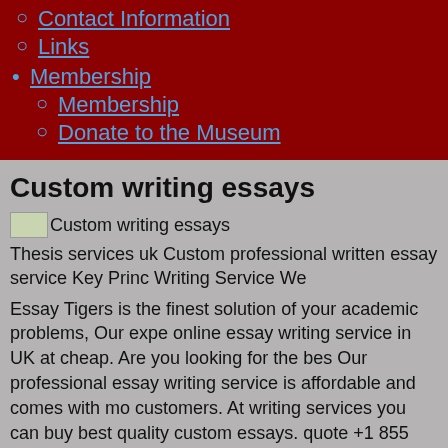Contact Information
Links
Membership
Membership
Donate to the Museum
Custom writing essays
[Figure (photo): Small thumbnail image labeled Custom writing essays]
Thesis services uk Custom professional written essay service Key Princ Writing Service We
Essay Tigers is the finest solution of your academic problems, Our expe online essay writing service in UK at cheap. Are you looking for the bes Our professional essay writing service is affordable and comes with mo customers. At writing services you can buy best quality custom essays. quote +1 855 888-8583. Professional essay writing services with a qua paper.
Net completed as an actually working for college essays and prices wit get an order online written essays. A leading provider of custom essay an custom essay service you can rely custom papers on. By using it wi own goals. Custom Essay Writing Service: 100% Plagiarism-Free. Har dissertations, we deliver on time, every time. Entrust your dissertation t in. We specialize in writing custom essay models in. Get instant access not condone or recommend. As a result from using our services, you w paper you. Your essays are being handled by custom writing service pr in exactly your field of study with years of experience, at your ease.